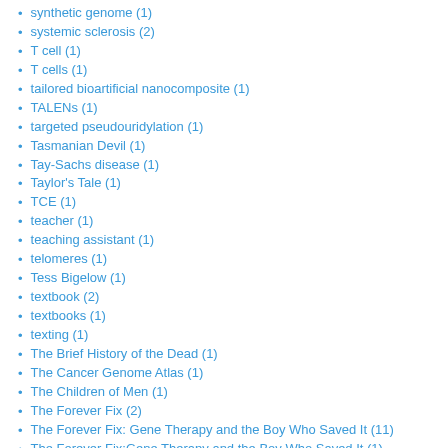synthetic genome (1)
systemic sclerosis (2)
T cell (1)
T cells (1)
tailored bioartificial nanocomposite (1)
TALENs (1)
targeted pseudouridylation (1)
Tasmanian Devil (1)
Tay-Sachs disease (1)
Taylor's Tale (1)
TCE (1)
teacher (1)
teaching assistant (1)
telomeres (1)
Tess Bigelow (1)
textbook (2)
textbooks (1)
texting (1)
The Brief History of the Dead (1)
The Cancer Genome Atlas (1)
The Children of Men (1)
The Forever Fix (2)
The Forever Fix: Gene Therapy and the Boy Who Saved It (11)
The Forever Fix:Gene Therapy and the Boy Who Saved It (1)
The Handmaid's Tale (1)
The Journal of Sexual Medicine (1)